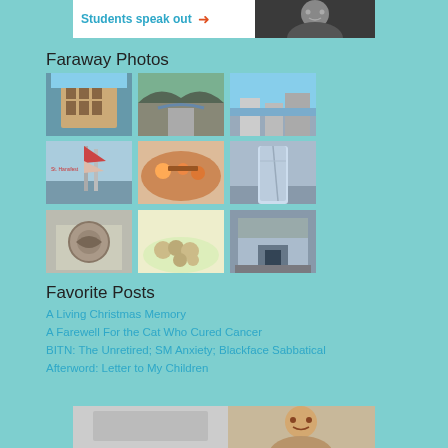[Figure (photo): Banner with 'Students speak out' text and arrow, plus a black and white photo of a person's face]
Faraway Photos
[Figure (photo): Photo of a large building with many windows, European architecture]
[Figure (photo): Photo of a stone bridge over water in a European village]
[Figure (photo): Photo of outdoor seating/chairs with mountains in background]
[Figure (photo): Photo of flags at a festival, St. Hansfest]
[Figure (photo): Close-up photo of food being cut, pizza or similar dish]
[Figure (photo): Photo of the Leaning Tower of Pisa from below]
[Figure (photo): Close-up photo of stone architectural ornament or medallion]
[Figure (photo): Photo of potatoes or round food items in a bowl]
[Figure (photo): Photo of a stone building facade with arched doorway]
Favorite Posts
A Living Christmas Memory
A Farewell For the Cat Who Cured Cancer
BITN: The Unretired; SM Anxiety; Blackface Sabbatical
Afterword: Letter to My Children
[Figure (photo): Bottom banner with two photos: a landscape/exterior photo on the left and a portrait photo on the right]